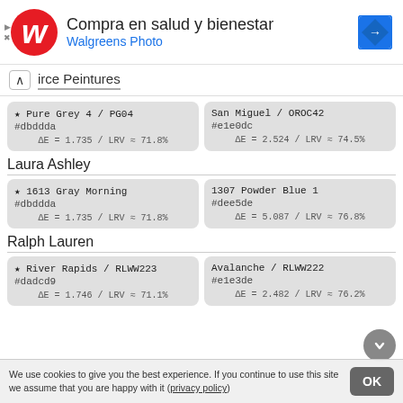[Figure (screenshot): Walgreens ad banner with red W logo, text 'Compra en salud y bienestar' and 'Walgreens Photo', and a blue navigation diamond icon]
^ irce Peintures
| ★ Pure Grey 4 / PG04
#dbddda
ΔE = 1.735 / LRV ≈ 71.8% | San Miguel / OROC42
#e1e0dc
ΔE = 2.524 / LRV ≈ 74.5% |
Laura Ashley
| ★ 1613 Gray Morning
#dbddda
ΔE = 1.735 / LRV ≈ 71.8% | 1307 Powder Blue 1
#dee5de
ΔE = 5.087 / LRV ≈ 76.8% |
Ralph Lauren
| ★ River Rapids / RLWW223
#dadcd9
ΔE = 1.746 / LRV ≈ 71.1% | Avalanche / RLWW222
#e1e3de
ΔE = 2.482 / LRV ≈ 76.2% |
We use cookies to give you the best experience. If you continue to use this site we assume that you are happy with it (privacy policy)